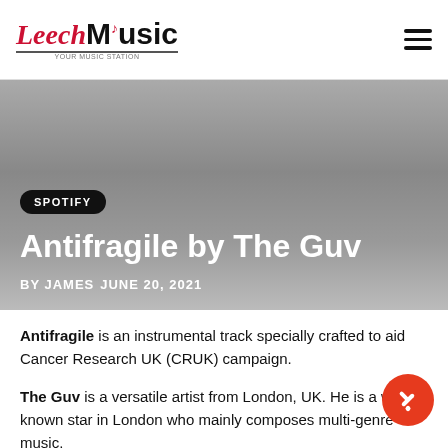Leech Music
[Figure (logo): Leech Music logo with red cursive 'Leech' and bold black 'Music' text, with underline and tagline]
SPOTIFY
Antifragile by The Guv
BY JAMES   JUNE 20, 2021
Antifragile is an instrumental track specially crafted to aid Cancer Research UK (CRUK) campaign.
The Guv is a versatile artist from London, UK. He is a well-known star in London who mainly composes multi-genre music.